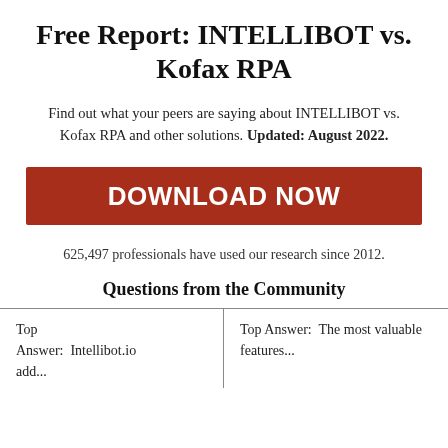Free Report: INTELLIBOT vs. Kofax RPA
Find out what your peers are saying about INTELLIBOT vs. Kofax RPA and other solutions. Updated: August 2022.
[Figure (other): Red DOWNLOAD NOW button]
625,497 professionals have used our research since 2012.
Questions from the Community
Top Answer: Intellibot.io add...
Top Answer: The most valuable features...